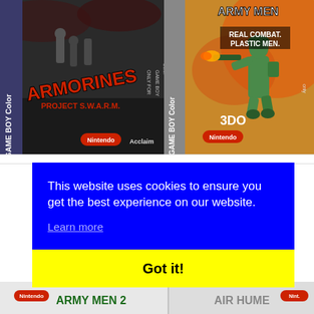[Figure (photo): Game Boy Color cartridge box art for 'Armorines' by Acclaim, showing soldiers in black and white military scene with red title text]
[Figure (photo): Game Boy Color cartridge box art for 'Army Men' by 3DO, showing a green plastic toy soldier with flamethrower. Text reads 'REAL COMBAT. PLASTIC MEN.']
This website uses cookies to ensure you get the best experience on our website.
Learn more
Got it!
[Figure (photo): Partial view of bottom row of Game Boy Color game cartridge boxes including Army Men 2 and Air Human/another title]